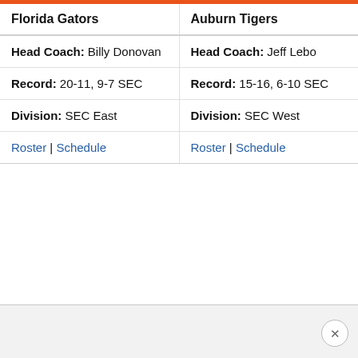| Florida Gators | Auburn Tigers |
| --- | --- |
| Head Coach: Billy Donovan | Head Coach: Jeff Lebo |
| Record: 20-11, 9-7 SEC | Record: 15-16, 6-10 SEC |
| Division: SEC East | Division: SEC West |
| Roster | Schedule | Roster | Schedule |